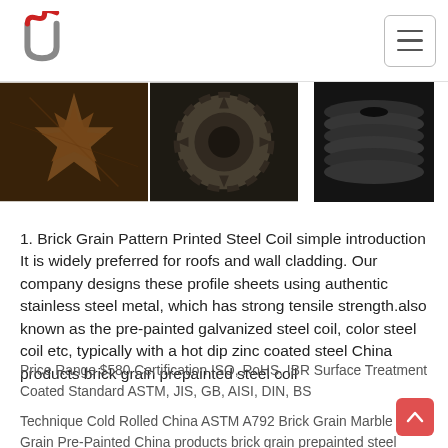UN logo and hamburger menu navigation
[Figure (photo): Three photos of steel cut parts and coils: left shows a snowflake/star-shaped steel piece with rusty finish, center shows a gear-like steel component with a hole viewed from above, right shows stacked steel coils/discs viewed from the side.]
1. Brick Grain Pattern Printed Steel Coil simple introduction It is widely preferred for roofs and wall cladding. Our company designs these profile sheets using authentic stainless steel metal, which has strong tensile strength.also known as the pre-painted galvanized steel coil, color steel coil etc, typically with a hot dip zinc coated steel China products brick grain prepainted steel coil
Price Range $580 Certification ISO, RoHS, IBR Surface Treatment Coated Standard ASTM, JIS, GB, AISI, DIN, BS Technique Cold Rolled China ASTM A792 Brick Grain Marble Grain Pre-Painted China products brick grain prepainted steel